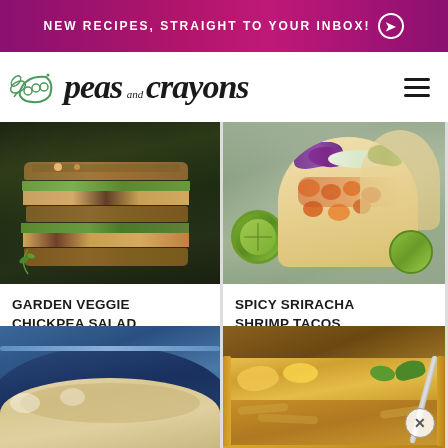NEW RECIPES, STRAIGHT TO YOUR INBOX! →
[Figure (logo): Peas and Crayons blog logo with illustrated pea pod and script/handwritten text]
[Figure (photo): Garden Veggie Chickpea Salad Sandwich stacked on dark background]
GARDEN VEGGIE CHICKPEA SALAD SANDWICH
[Figure (photo): Spicy Sriracha Shrimp Tacos with Cilantro Lime Slaw on plate with lime]
SPICY SRIRACHA SHRIMP TACOS WITH CILANTRO LIME SLAW
[Figure (photo): Bottom left recipe photo - creamy dish in blue/dark pan]
[Figure (photo): Bottom right recipe photo - cheesy casserole dish with herbs]